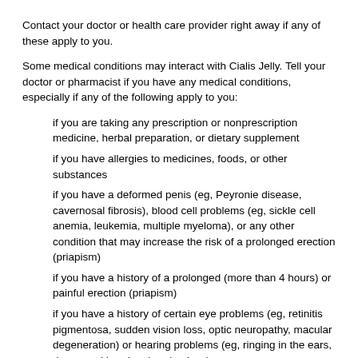Contact your doctor or health care provider right away if any of these apply to you.
Some medical conditions may interact with Cialis Jelly. Tell your doctor or pharmacist if you have any medical conditions, especially if any of the following apply to you:
if you are taking any prescription or nonprescription medicine, herbal preparation, or dietary supplement
if you have allergies to medicines, foods, or other substances
if you have a deformed penis (eg, Peyronie disease, cavernosal fibrosis), blood cell problems (eg, sickle cell anemia, leukemia, multiple myeloma), or any other condition that may increase the risk of a prolonged erection (priapism)
if you have a history of a prolonged (more than 4 hours) or painful erection (priapism)
if you have a history of certain eye problems (eg, retinitis pigmentosa, sudden vision loss, optic neuropathy, macular degeneration) or hearing problems (eg, ringing in the ears, decreased hearing, hearing loss)
if you have a history of liver or kidney problems, dialysis, lung problems (eg, pulmonary veno-occlusive disease), high or low blood pressure, ulcers, bleeding problems, heart problems (eg, heart failure, irregular heartbeat, aortic stenosis, angina), or blood vessel problems
if you have a history of heart attack, stroke, or life-threatening irregular heartbeat.